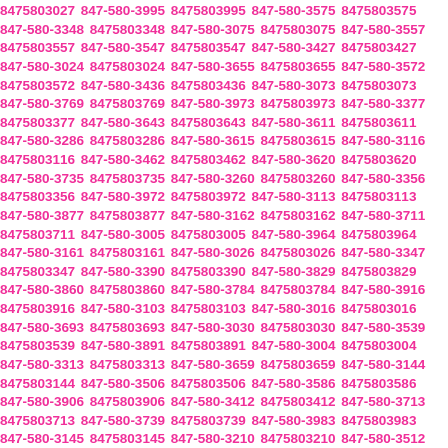8475803027 847-580-3995 8475803995 847-580-3575 8475803575 847-580-3348 8475803348 847-580-3075 8475803075 847-580-3557 8475803557 847-580-3547 8475803547 847-580-3427 8475803427 847-580-3024 8475803024 847-580-3655 8475803655 847-580-3572 8475803572 847-580-3436 8475803436 847-580-3073 8475803073 847-580-3769 8475803769 847-580-3973 8475803973 847-580-3377 8475803377 847-580-3643 8475803643 847-580-3611 8475803611 847-580-3286 8475803286 847-580-3615 8475803615 847-580-3116 8475803116 847-580-3462 8475803462 847-580-3620 8475803620 847-580-3735 8475803735 847-580-3260 8475803260 847-580-3356 8475803356 847-580-3972 8475803972 847-580-3113 8475803113 847-580-3877 8475803877 847-580-3162 8475803162 847-580-3711 8475803711 847-580-3005 8475803005 847-580-3964 8475803964 847-580-3161 8475803161 847-580-3026 8475803026 847-580-3347 8475803347 847-580-3390 8475803390 847-580-3829 8475803829 847-580-3860 8475803860 847-580-3784 8475803784 847-580-3916 8475803916 847-580-3103 8475803103 847-580-3016 8475803016 847-580-3693 8475803693 847-580-3030 8475803030 847-580-3539 8475803539 847-580-3891 8475803891 847-580-3004 8475803004 847-580-3313 8475803313 847-580-3659 8475803659 847-580-3144 8475803144 847-580-3506 8475803506 847-580-3586 8475803586 847-580-3906 8475803906 847-580-3412 8475803412 847-580-3713 8475803713 847-580-3739 8475803739 847-580-3983 8475803983 847-580-3145 8475803145 847-580-3210 8475803210 847-580-3512 8475803512 847-580-3492 8475803492 847-580-3777 8475803777